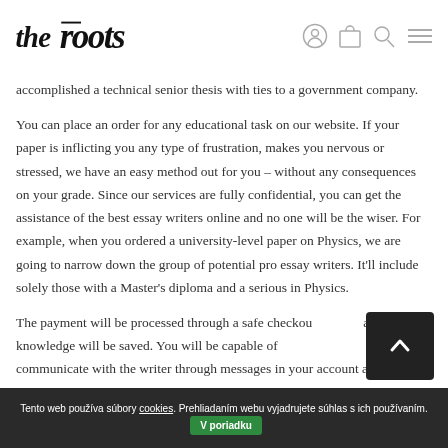theroots [logo with navigation icons]
accomplished a technical senior thesis with ties to a government company.
You can place an order for any educational task on our website. If your paper is inflicting you any type of frustration, makes you nervous or stressed, we have an easy method out for you – without any consequences on your grade. Since our services are fully confidential, you can get the assistance of the best essay writers online and no one will be the wiser. For example, when you ordered a university-level paper on Physics, we are going to narrow down the group of potential pro essay writers. It'll include solely those with a Master's diploma and a serious in Physics.
The payment will be processed through a safe checkout and no card knowledge will be saved. You will be capable of communicate with the writer through messages in your account after
Tento web používa súbory cookies. Prehliadaním webu vyjadrujete súhlas s ich používaním. V poriadku